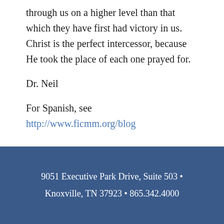through us on a higher level than that which they have first had victory in us. Christ is the perfect intercessor, because He took the place of each one prayed for.
Dr. Neil
For Spanish, see http://www.ficmm.org/blog
9051 Executive Park Drive, Suite 503 • Knoxville, TN 37923 • 865.342.4000